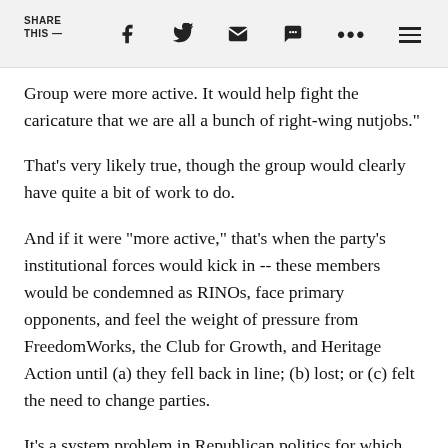SHARE THIS —  [social icons: Facebook, Twitter, Email, SMS, More, Menu]
Group were more active. It would help fight the caricature that we are all a bunch of right-wing nutjobs."
That's very likely true, though the group would clearly have quite a bit of work to do.
And if it were "more active," that's when the party's institutional forces would kick in -- these members would be condemned as RINOs, face primary opponents, and feel the weight of pressure from FreedomWorks, the Club for Growth, and Heritage Action until (a) they fell back in line; (b) lost; or (c) felt the need to change parties.
It's a system problem in Republican politics for which there is no quick fix. [NBC logo]